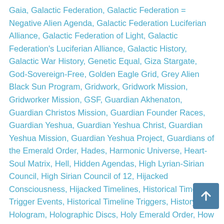Gaia, Galactic Federation, Galactic Federation = Negative Alien Agenda, Galactic Federation Luciferian Alliance, Galactic Federation of Light, Galactic Federation's Luciferian Alliance, Galactic History, Galactic War History, Genetic Equal, Giza Stargate, God-Sovereign-Free, Golden Eagle Grid, Grey Alien Black Sun Program, Gridwork, Gridwork Mission, Gridworker Mission, GSF, Guardian Akhenaton, Guardian Christos Mission, Guardian Founder Races, Guardian Yeshua, Guardian Yeshua Christ, Guardian Yeshua Mission, Guardian Yeshua Project, Guardians of the Emerald Order, Hades, Harmonic Universe, Heart-Soul Matrix, Hell, Hidden Agendas, High Lyrian-Sirian Council, High Sirian Council of 12, Hijacked Consciousness, Hijacked Timelines, Historical Timeline Trigger Events, Historical Timeline Triggers, History, Hologram, Holographic Discs, Holy Emerald Order, How To Exit The Matrix, Human History, Illusions, Inner Worlds, Inorganic, Inorganic Ascension, Inorganic Structures, Inorganic Timelines, Interdimensional Free World Council (IFWC), Interdimensional Free World Councils, Interdimensional Free